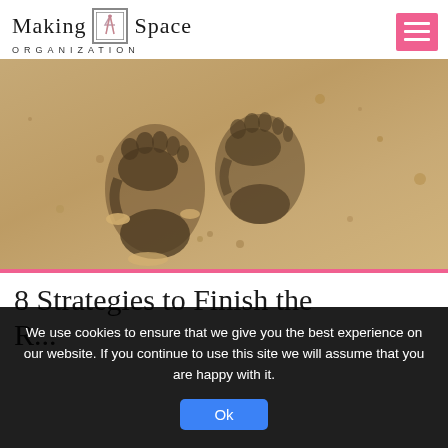Making Space Organization
[Figure (photo): Close-up photograph of a bare human footprint pressed into sandy beach sand]
8 Strategies to Finish the
We use cookies to ensure that we give you the best experience on our website. If you continue to use this site we will assume that you are happy with it. Ok